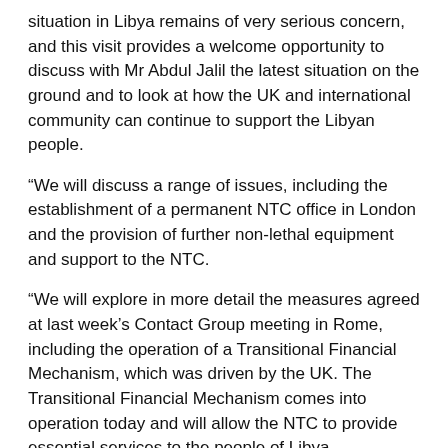situation in Libya remains of very serious concern, and this visit provides a welcome opportunity to discuss with Mr Abdul Jalil the latest situation on the ground and to look at how the UK and international community can continue to support the Libyan people.
“We will discuss a range of issues, including the establishment of a permanent NTC office in London and the provision of further non-lethal equipment and support to the NTC.
“We will explore in more detail the measures agreed at last week’s Contact Group meeting in Rome, including the operation of a Transitional Financial Mechanism, which was driven by the UK. The Transitional Financial Mechanism comes into operation today and will allow the NTC to provide essential services to the people of Libya.
“We will also share views on the situation in Western Libya, which remains deeply troubling. Colonel Qadhafi continues to brutalise his own people. The British Government urges him to stand down immediately and initiate a real ceasefire, so that the legitimate needs of Libya’s people can be met”.